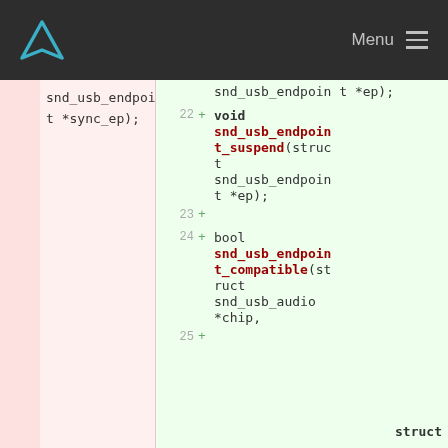Menu
[Figure (screenshot): Code diff view showing removed code on left (pink background) with 'snd_usb_endpoint *sync_ep);' and added code on right (green background) with new function declarations: void snd_usb_endpoint_suspend(struct snd_usb_endpoint *ep); on line 22, blank line 23, bool snd_usb_endpoint_compatible(struct snd_usb_audio *chip, on line 24, and line 25 with struct]